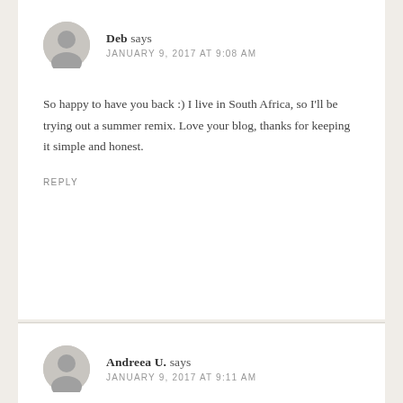Deb says
JANUARY 9, 2017 AT 9:08 AM
So happy to have you back :) I live in South Africa, so I'll be trying out a summer remix. Love your blog, thanks for keeping it simple and honest.
REPLY
Andreea U. says
JANUARY 9, 2017 AT 9:11 AM
You convinced me this time!